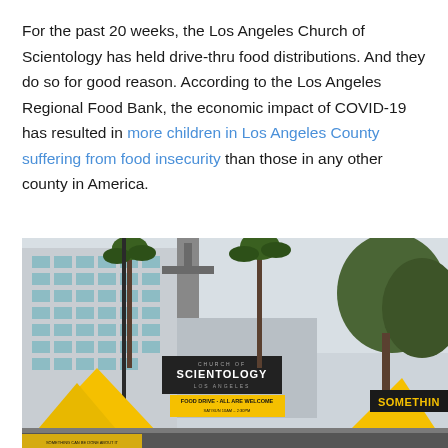For the past 20 weeks, the Los Angeles Church of Scientology has held drive-thru food distributions. And they do so for good reason. According to the Los Angeles Regional Food Bank, the economic impact of COVID-19 has resulted in more children in Los Angeles County suffering from food insecurity than those in any other county in America.
[Figure (photo): Street-level photo of the Church of Scientology Los Angeles building with yellow food drive tents in the foreground, palm trees, and a sign reading 'FOOD DRIVE - ALL ARE WELCOME'. A yellow tent on the right has a partial sign reading 'SOMETHIN'.]